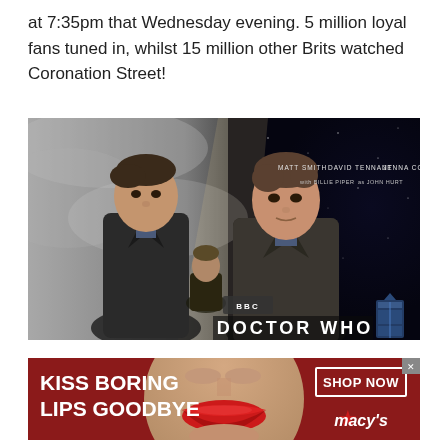at 7:35pm that Wednesday evening. 5 million loyal fans tuned in, whilst 15 million other Brits watched Coronation Street!
[Figure (photo): Doctor Who promotional image showing two actors standing back to back in dramatic lighting. Text overlay reads: MATT SMITH, DAVID TENNANT, JENNA COLEMAN, with BILLIE PIPER, as JOHN HURT. BBC Doctor Who logo visible at bottom right.]
[Figure (photo): Macy's advertisement banner with red background. Left side shows bold white text: KISS BORING LIPS GOODBYE. Center shows a woman's face with red lips. Right side shows SHOP NOW button and Macy's star logo.]